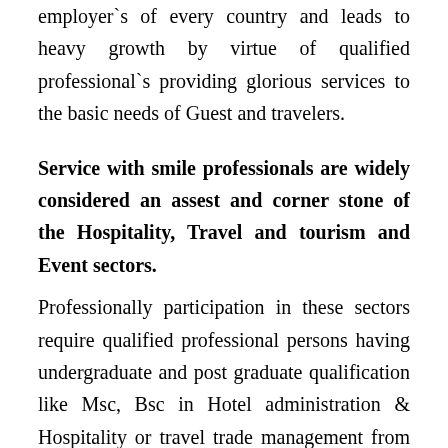employer`s of every country and leads to heavy growth by virtue of qualified professional`s providing glorious services to the basic needs of Guest and travelers.
Service with smile professionals are widely considered an assest and corner stone of the Hospitality, Travel and tourism and Event sectors.
Professionally participation in these sectors require qualified professional persons having undergraduate and post graduate qualification like Msc, Bsc in Hotel administration & Hospitality or travel trade management from top colleges and universities of India or abroad. These program`s focus on in-depth training and exposure of an individual to play a vital key role for the growth of the industry in future. Such program`s also focus on preparing graduates with